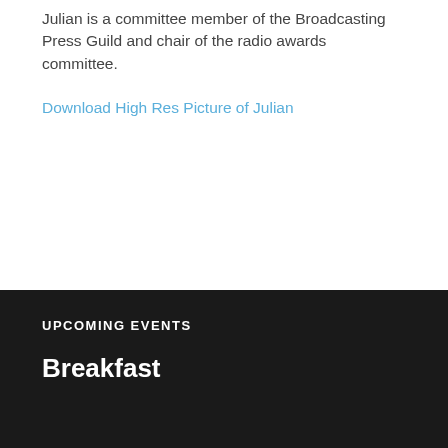Julian is a committee member of the Broadcasting Press Guild and chair of the radio awards committee.
Download High Res Picture of Julian
UPCOMING EVENTS
Breakfast